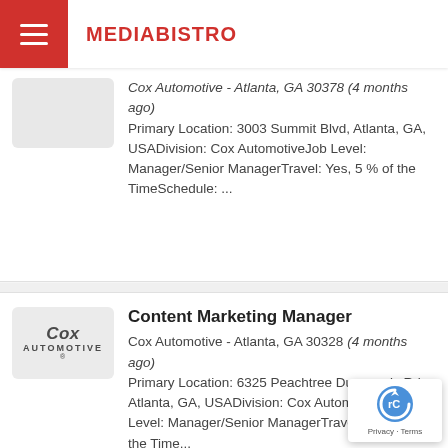MEDIABISTRO
Cox Automotive - Atlanta, GA 30378 (4 months ago) Primary Location: 3003 Summit Blvd, Atlanta, GA, USADivision: Cox AutomotiveJob Level: Manager/Senior ManagerTravel: Yes, 5 % of the TimeSchedule: ...
Content Marketing Manager
Cox Automotive - Atlanta, GA 30328 (4 months ago) Primary Location: 6325 Peachtree Dunwoody Rd, Atlanta, GA, USADivision: Cox AutomotiveJob Level: Manager/Senior ManagerTravel: Yes, 5 % of the Time...